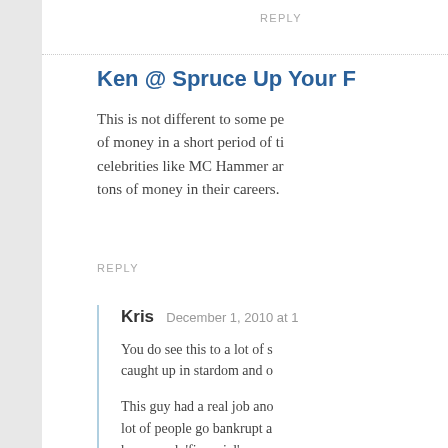REPLY
Ken @ Spruce Up Your F
This is not different to some pe of money in a short period of ti celebrities like MC Hammer ar tons of money in their careers.
REPLY
Kris  December 1, 2010 at 1
You do see this to a lot of s caught up in stardom and o
This guy had a real job ano lot of people go bankrupt a have much 'financial' expe businessman.